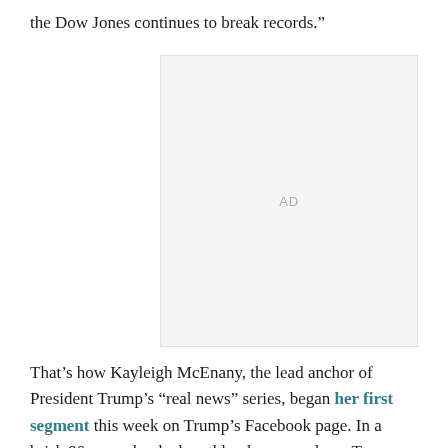the Dow Jones continues to break records.”
[Figure (other): Advertisement placeholder box with 'AD' label in gray]
That’s how Kayleigh McEnany, the lead anchor of President Trump’s “real news” series, began her first segment this week on Trump’s Facebook page. In a brisk 90 seconds, she breathlessly pumped pro-Trump propaganda as though it were “nothing but